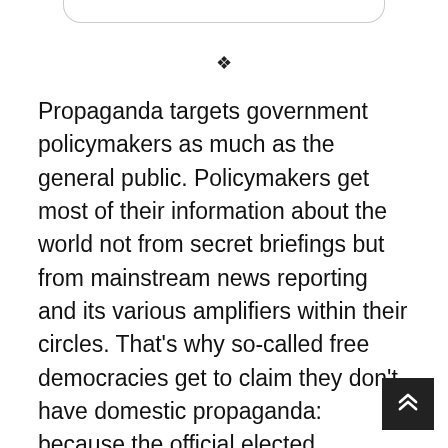[Figure (other): Rounded bottom border bar at top of page, like a UI navigation element]
❖
Propaganda targets government policymakers as much as the general public. Policymakers get most of their information about the world not from secret briefings but from mainstream news reporting and its various amplifiers within their circles. That’s why so-called free democracies get to claim they don’t have domestic propaganda: because the official elected governments aren’t the ones distributing that propaganda, and are in fact often its targets. The distributors of propaganda are unaccountable power
[Figure (other): Dark square scroll-to-top button with double upward chevron arrows in white, positioned bottom right]